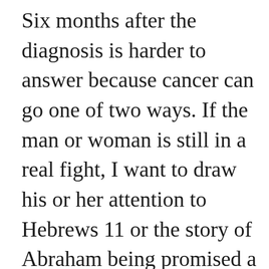Six months after the diagnosis is harder to answer because cancer can go one of two ways. If the man or woman is still in a real fight, I want to draw his or her attention to Hebrews 11 or the story of Abraham being promised a son or even David being anointed king and then